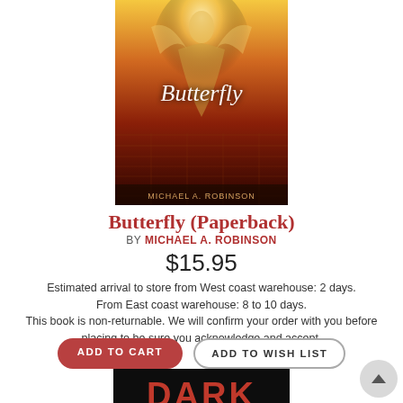[Figure (photo): Book cover for 'Butterfly' — golden/orange tones with figure and title in cursive script]
Butterfly (Paperback)
BY MICHAEL A. ROBINSON
$15.95
Estimated arrival to store from West coast warehouse: 2 days. From East coast warehouse: 8 to 10 days. This book is non-returnable. We will confirm your order with you before placing to be sure you acknowledge and accept.
[Figure (photo): Book cover for 'Dark Currents' by Doug Burgess — dark background with red title text and glowing water imagery]